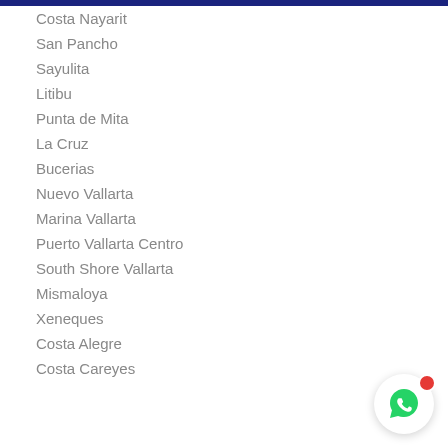Costa Nayarit
San Pancho
Sayulita
Litibu
Punta de Mita
La Cruz
Bucerias
Nuevo Vallarta
Marina Vallarta
Puerto Vallarta Centro
South Shore Vallarta
Mismaloya
Xeneques
Costa Alegre
Costa Careyes
[Figure (illustration): WhatsApp contact button with red notification dot]